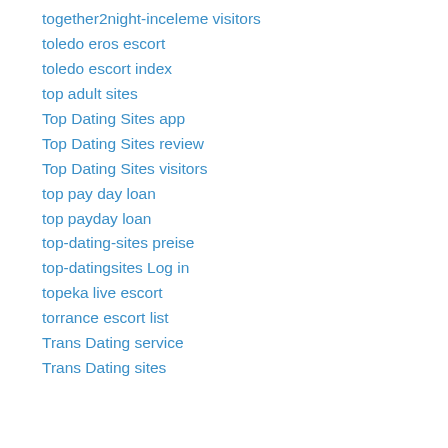together2night-inceleme visitors
toledo eros escort
toledo escort index
top adult sites
Top Dating Sites app
Top Dating Sites review
Top Dating Sites visitors
top pay day loan
top payday loan
top-dating-sites preise
top-datingsites Log in
topeka live escort
torrance escort list
Trans Dating service
Trans Dating sites